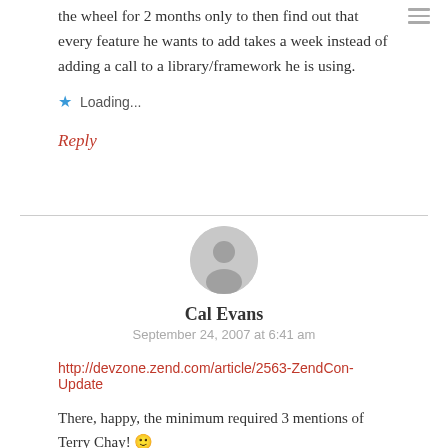the wheel for 2 months only to then find out that every feature he wants to add takes a week instead of adding a call to a library/framework he is using.
Loading...
Reply
[Figure (illustration): Circular avatar placeholder with grey silhouette of a person]
Cal Evans
September 24, 2007 at 6:41 am
http://devzone.zend.com/article/2563-ZendCon-Update
There, happy, the minimum required 3 mentions of Terry Chay! 🙂
=C=